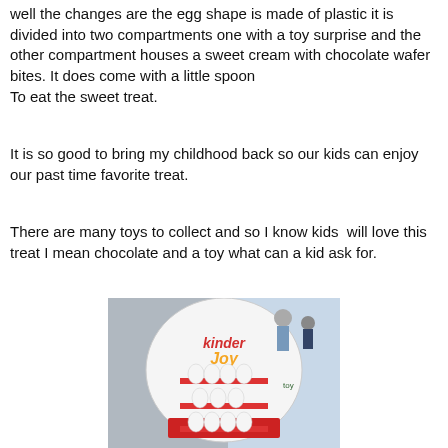Well the changes are the egg shape is made of plastic it is divided into two compartments one with a toy surprise and the other compartment houses a sweet cream with chocolate wafer bites. It does come with a little spoon
To eat the sweet treat.
It is so good to bring my childhood back so our kids can enjoy our past time favorite treat.
There are many toys to collect and so I know kids  will love this treat I mean chocolate and a toy what can a kid ask for.
[Figure (photo): Photo of a Kinder Joy egg-shaped display stand with multiple compartments holding Kinder Joy eggs, with toy illustrations on the sides. People visible in background.]